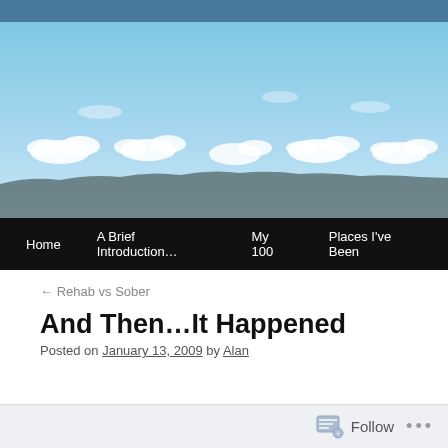[Figure (photo): Landscape photo of a blue sky with white clouds scattered along the horizon, dark mountain silhouettes at the bottom. Navigation bar overlaid at the bottom with links: Home, A Brief Introduction..., My 100, Places I've Been]
← Rehab vs Sober
And Then...It Happened
Posted on January 13, 2009 by Alan
Follow ···